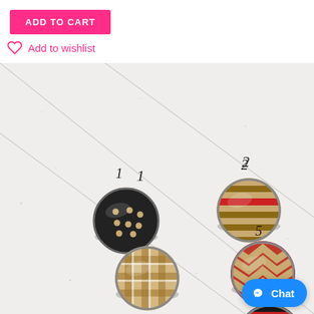ADD TO CART
Add to wishlist
[Figure (photo): Seven decorative glass dome snap buttons/charms numbered 1-7, arranged on a white calendar background. Each button has a distinct pattern: 1=black with gold dots, 2=gold and red stripes, 3=gold plaid, 4=tan/beige plaid, 5=red chevron/zigzag, 6=gold and black diagonal stripes, 7=black and red stripes (partially visible at bottom).]
Chat